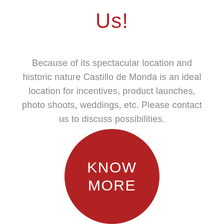Us!
Because of its spectacular location and historic nature Castillo de Monda is an ideal location for incentives, product launches, photo shoots, weddings, etc. Please contact us to discuss possibilities.
[Figure (infographic): A large red circle button with white text reading KNOW MORE]